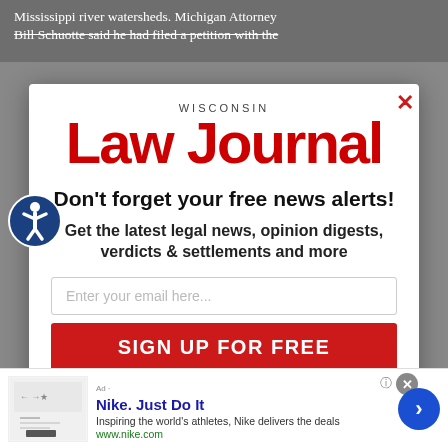Mississippi river watersheds. Michigan Attorney Bill Schuotte said he had filed a petition with the
[Figure (screenshot): Wisconsin Law Journal modal popup with logo, tagline 'Don't forget your free news alerts!', subtext about legal news, email signup field, and SIGN UP FOR FREE button]
[Figure (infographic): Nike advertisement bar at the bottom: 'Nike. Just Do It' with description 'Inspiring the world's athletes, Nike delivers the deals' and www.nike.com URL]